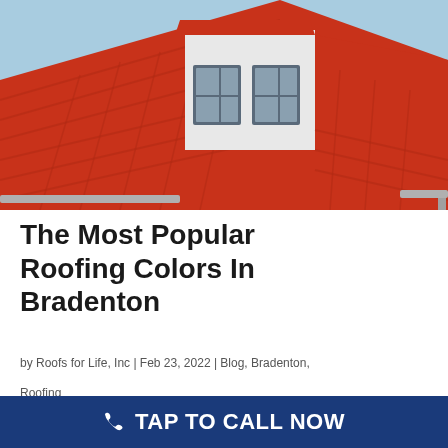[Figure (photo): Close-up photo of a house roof with bright red/orange clay or concrete tiles, a white dormer with dark-framed windows, and metal gutters visible at the edge. Blue sky in background.]
The Most Popular Roofing Colors In Bradenton
by Roofs for Life, Inc | Feb 23, 2022 | Blog, Bradenton, Roofing